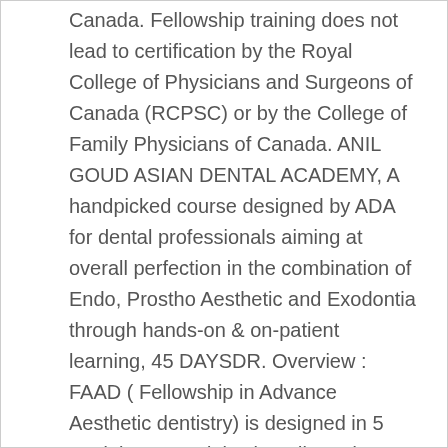Canada. Fellowship training does not lead to certification by the Royal College of Physicians and Surgeons of Canada (RCPSC) or by the College of Family Physicians of Canada. ANIL GOUD ASIAN DENTAL ACADEMY, A handpicked course designed by ADA for dental professionals aiming at overall perfection in the combination of Endo, Prostho Aesthetic and Exodontia through hands-on & on-patient learning, 45 DAYSDR. Overview : FAAD ( Fellowship in Advance Aesthetic dentistry) is designed in 5 modules, 4 modules in India and 1 international module, which is visit to state university, Germany. Thanks, DIAGNOSIS AND TREATMENT PLANNING FOR AESTHETIC AND COSMETIC CASES, FIXED PARTIAL DENTURE ( crown and bridge ), DIGITAL SMILE DESIGNING ( DSD) and INTRA ORAL SCANNER, Interdisciplinary approach- Implant Aesthetics, Perio Aesthetics, Ortho